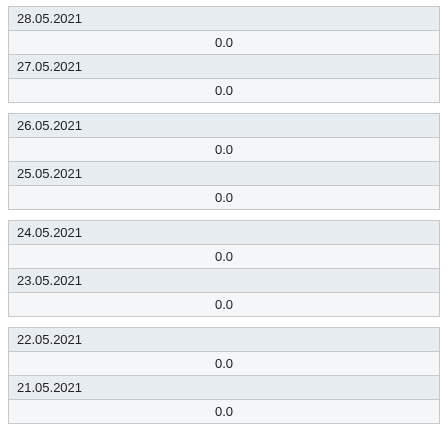| 28.05.2021 | 0.0 |
| 27.05.2021 | 0.0 |
| 26.05.2021 | 0.0 |
| 25.05.2021 | 0.0 |
| 24.05.2021 | 0.0 |
| 23.05.2021 | 0.0 |
| 22.05.2021 | 0.0 |
| 21.05.2021 | 0.0 |